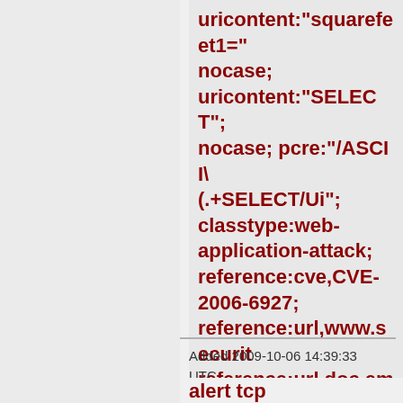uricontent:"squarefeet1="; nocase; uricontent:"SELECT"; nocase; pcre:"/ASCII\(.+SELECT/Ui"; classtype:web-application-attack; reference:cve,CVE-2006-6927; reference:url,www.securi reference:url,doc.emergin reference:url,www.emergi bin/cvsweb.cgi/sigs/WEB_ sid:2005764; rev:5;)
Added 2009-10-06 14:39:33 UTC
alert tcp $EXTERNAL_NET